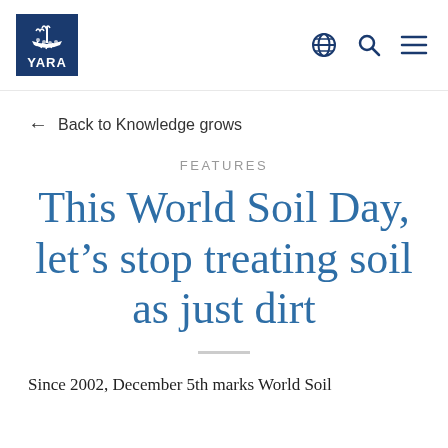YARA [logo] [globe icon] [search icon] [menu icon]
← Back to Knowledge grows
FEATURES
This World Soil Day, let's stop treating soil as just dirt
Since 2002, December 5th marks World Soil